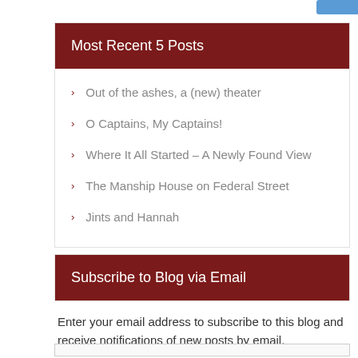Most Recent 5 Posts
Out of the ashes, a (new) theater
O Captains, My Captains!
Where It All Started – A Newly Found View
The Manship House on Federal Street
Jints and Hannah
Subscribe to Blog via Email
Enter your email address to subscribe to this blog and receive notifications of new posts by email.
Join 749 other subscribers